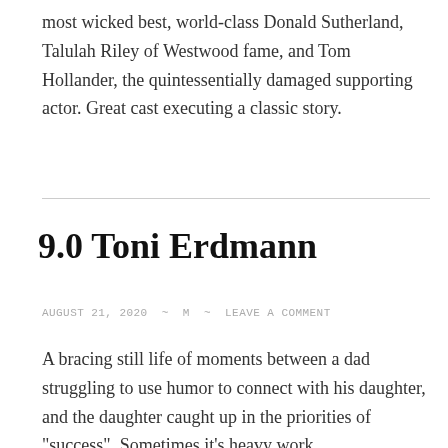most wicked best, world-class Donald Sutherland, Talulah Riley of Westwood fame, and Tom Hollander, the quintessentially damaged supporting actor. Great cast executing a classic story.
9.0 Toni Erdmann
AUGUST 21, 2020 ~ M ~ LEAVE A COMMENT
A bracing still life of moments between a dad struggling to use humor to connect with his daughter, and the daughter caught up in the priorities of "success". Sometimes it's heavy work